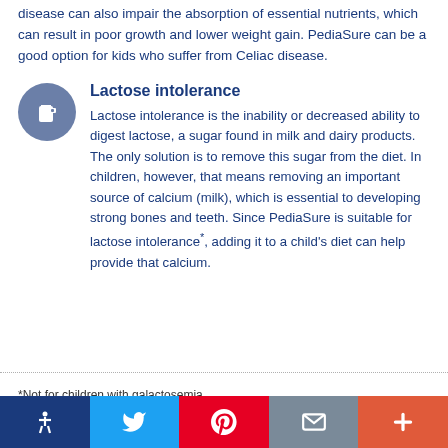disease can also impair the absorption of essential nutrients, which can result in poor growth and lower weight gain. PediaSure can be a good option for kids who suffer from Celiac disease.
Lactose intolerance
Lactose intolerance is the inability or decreased ability to digest lactose, a sugar found in milk and dairy products. The only solution is to remove this sugar from the diet. In children, however, that means removing an important source of calcium (milk), which is essential to developing strong bones and teeth. Since PediaSure is suitable for lactose intolerance*, adding it to a child's diet can help provide that calcium.
*Not for children with galactosemia.